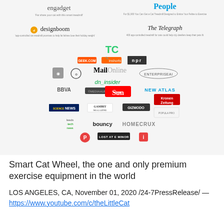[Figure (infographic): Collage of media outlet logos that have covered the product, including engadget, People, designboom, The Telegraph, TechCrunch, geek.com, inshorts, NPR, Mail Online, dn_insider, EnterpriseAI, BBVA, CMediaHub, The Sun, Kronen Zeitung, Science News, Gambit Magazine, Gizmodo, leeds-tech-news, bouncy, Homecrux, Popula Pro, Lost at E Minor, and others with brief quote excerpts.]
Smart Cat Wheel, the one and only premium exercise equipment in the world
LOS ANGELES, CA, November 01, 2020 /24-7PressRelease/ — https://www.youtube.com/c/theLittleCat